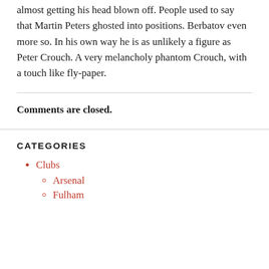almost getting his head blown off. People used to say that Martin Peters ghosted into positions. Berbatov even more so. In his own way he is as unlikely a figure as Peter Crouch. A very melancholy phantom Crouch, with a touch like fly-paper.
Comments are closed.
CATEGORIES
Clubs
Arsenal
Fulham